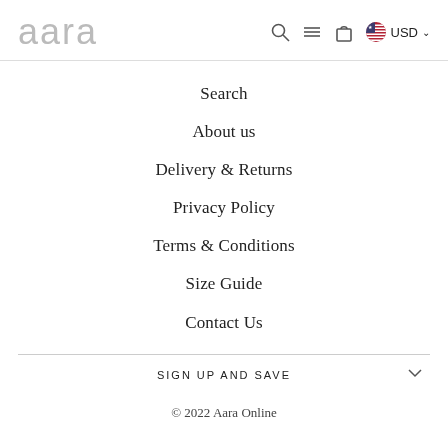aara | Search | Menu | Cart | USD
Search
About us
Delivery & Returns
Privacy Policy
Terms & Conditions
Size Guide
Contact Us
SIGN UP AND SAVE
© 2022 Aara Online